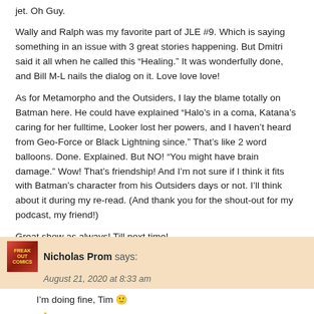jet. Oh Guy.
Wally and Ralph was my favorite part of JLE #9. Which is saying something in an issue with 3 great stories happening. But Dmitri said it all when he called this “Healing.” It was wonderfully done, and Bill M-L nails the dialog on it. Love love love!
As for Metamorpho and the Outsiders, I lay the blame totally on Batman here. He could have explained “Halo’s in a coma, Katana’s caring for her fulltime, Looker lost her powers, and I haven’t heard from Geo-Force or Black Lightning since.” That’s like 2 word balloons. Done. Explained. But NO! “You might have brain damage.” Wow! That’s friendship! And I’m not sure if I think it fits with Batman’s character from his Outsiders days or not. I’ll think about it during my re-read. (And thank you for the shout-out for my podcast, my friend!)
Great show as always! Till next time!
👍
Reply
Nicholas Prom says:
August 21, 2020 at 8:33 am
I’m doing fine, Tim 🙂
👍